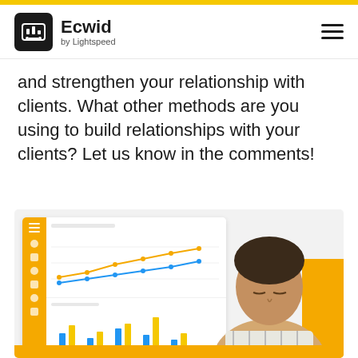Ecwid by Lightspeed
and strengthen your relationship with clients. What other methods are you using to build relationships with your clients? Let us know in the comments!
[Figure (screenshot): Ecwid e-commerce dashboard screenshot showing line charts (orange and blue trend lines) and bar charts (blue and yellow bars), overlaid with a photo of a woman looking at the screen, with an orange accent block on the right.]